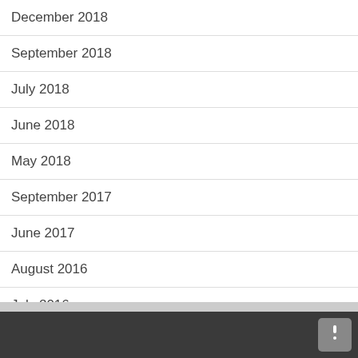December 2018
September 2018
July 2018
June 2018
May 2018
September 2017
June 2017
August 2016
July 2016
May 2016